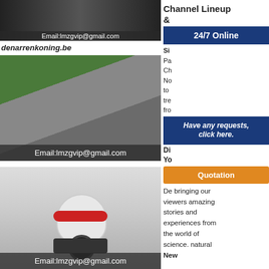[Figure (photo): Dark industrial machinery image with email overlay at top]
denarrenkoning.be
[Figure (photo): Quarry/mining operation with conveyors and mountain terrain, email overlay reading Email:lmzgvip@gmail.com]
[Figure (photo): Large cone crusher machine in a factory/industrial setting, email overlay reading Email:lmzgvip@gmail.com]
[Figure (photo): Blue-tinted industrial image at bottom, partially visible]
Channel Lineup &
24/7 Online
[Figure (photo): Customer service agent woman with headset]
Si
Pa
Ch
No
to
tre
fro
Di
Have any requests, click here.
Yo
Quotation
De bringing our viewers amazing stories and experiences from the world of science. natural
New